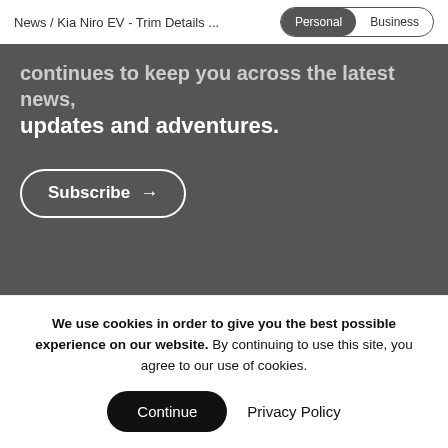News / Kia Niro EV - Trim Details ...  Personal  Business
...continues to keep you across the latest news, updates and adventures.
Subscribe →
Our story
Terms & Conditions
Privacy
Careers
We use cookies in order to give you the best possible experience on our website. By continuing to use this site, you agree to our use of cookies.
Continue   Privacy Policy